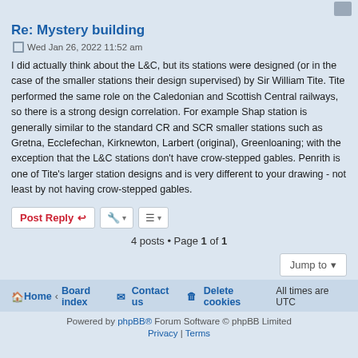Re: Mystery building
Wed Jan 26, 2022 11:52 am
I did actually think about the L&C, but its stations were designed (or in the case of the smaller stations their design supervised) by Sir William Tite. Tite performed the same role on the Caledonian and Scottish Central railways, so there is a strong design correlation. For example Shap station is generally similar to the standard CR and SCR smaller stations such as Gretna, Ecclefechan, Kirknewton, Larbert (original), Greenloaning; with the exception that the L&C stations don't have crow-stepped gables. Penrith is one of Tite's larger station designs and is very different to your drawing - not least by not having crow-stepped gables.
4 posts • Page 1 of 1
Home · Board index   Contact us   Delete cookies   All times are UTC
Powered by phpBB® Forum Software © phpBB Limited
Privacy | Terms